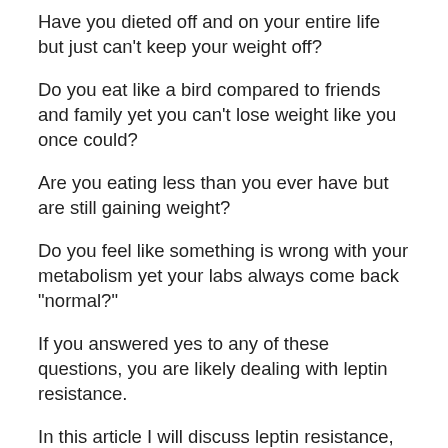Have you dieted off and on your entire life but just can't keep your weight off?
Do you eat like a bird compared to friends and family yet you can't lose weight like you once could?
Are you eating less than you ever have but are still gaining weight?
Do you feel like something is wrong with your metabolism yet your labs always come back "normal?"
If you answered yes to any of these questions, you are likely dealing with leptin resistance.
In this article I will discuss leptin resistance, how to diagnose it, and give